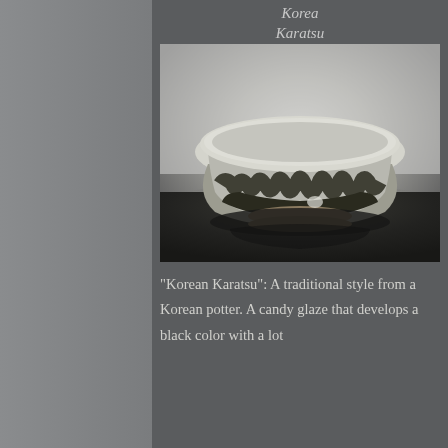Korea
Karatsu
[Figure (photo): A ceramic bowl in Korean Karatsu style, with a rough clay body and dripping white-over-dark glaze creating a dramatic pattern. The bowl has a wide mouth and small foot, sitting on a dark reflective surface against a light background.]
"Korean Karatsu": A traditional style from a Korean potter. A candy glaze that develops a black color with a lot